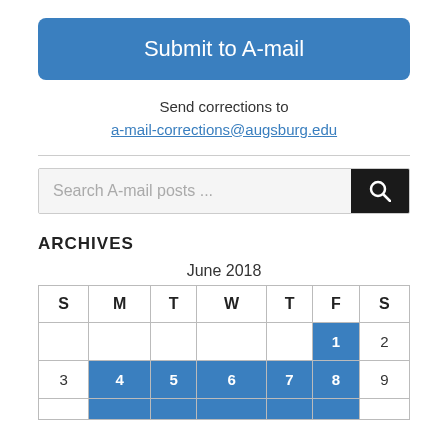Submit to A-mail
Send corrections to
a-mail-corrections@augsburg.edu
Search A-mail posts ...
ARCHIVES
June 2018
| S | M | T | W | T | F | S |
| --- | --- | --- | --- | --- | --- | --- |
|  |  |  |  |  | 1 | 2 |
| 3 | 4 | 5 | 6 | 7 | 8 | 9 |